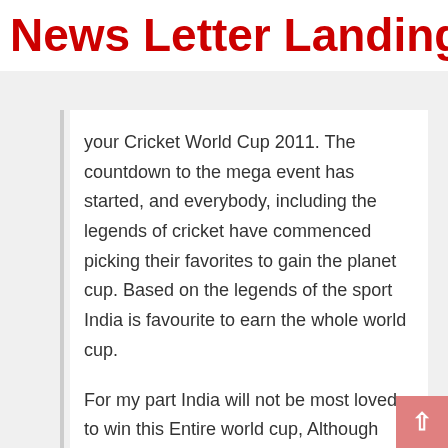News Letter Landing Pag
your Cricket World Cup 2011. The countdown to the mega event has started, and everybody, including the legends of cricket have commenced picking their favorites to gain the planet cup. Based on the legends of the sport India is favourite to earn the whole world cup.
For my part India will not be most loved to win this Entire world cup, Although They can be leading contenders with the coveted trophy. One of many most important causes for India's unlikely achievement is The actual